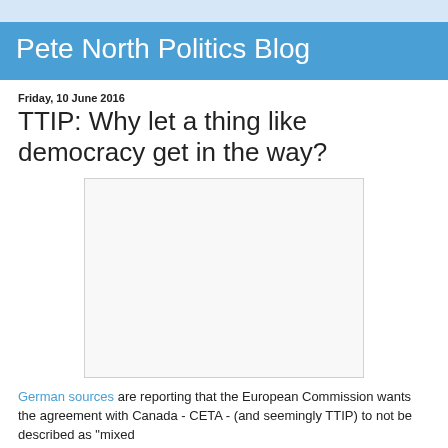Pete North Politics Blog
Friday, 10 June 2016
TTIP: Why let a thing like democracy get in the way?
[Figure (other): Blank white rectangle placeholder image]
German sources are reporting that the European Commission wants the agreement with Canada - CETA - (and seemingly TTIP) to not be described as "mixed